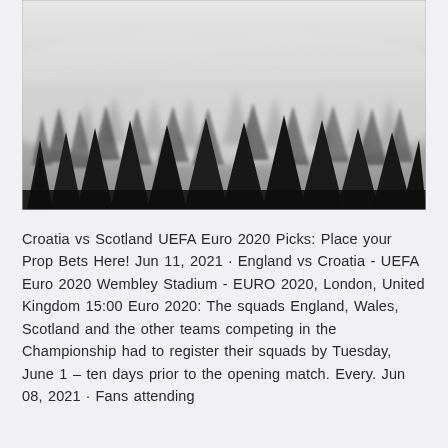[Figure (photo): Black and white photograph of a foggy conifer forest. Tall pine/spruce trees emerge from dense white mist, with dark silhouettes against a light grey sky. The image has a moody, atmospheric quality.]
Croatia vs Scotland UEFA Euro 2020 Picks: Place your Prop Bets Here! Jun 11, 2021 · England vs Croatia - UEFA Euro 2020 Wembley Stadium - EURO 2020, London, United Kingdom 15:00 Euro 2020: The squads England, Wales, Scotland and the other teams competing in the Championship had to register their squads by Tuesday, June 1 – ten days prior to the opening match. Every. Jun 08, 2021 · Fans attending